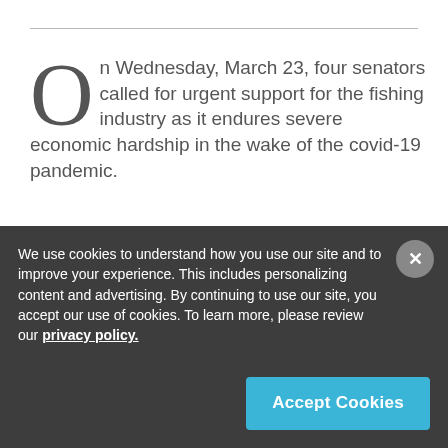On Wednesday, March 23, four senators called for urgent support for the fishing industry as it endures severe economic hardship in the wake of the covid-19 pandemic.
Sens. Edward J. Markey (D-Mass.), Lisa Murkowski (R-Alaska), Elizabeth Warren (D-
We use cookies to understand how you use our site and to improve your experience. This includes personalizing content and advertising. By continuing to use our site, you accept our use of cookies. To learn more, please review our privacy policy.